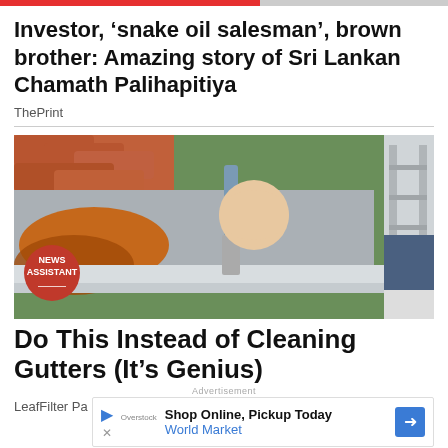Investor, ‘snake oil salesman’, brown brother: Amazing story of Sri Lankan Chamath Palihapitiya
ThePrint
[Figure (photo): Person cleaning or painting a roof gutter with a brush, viewed from outside. Orange rusty water visible in the gutter. News Assistant badge overlay in bottom-left corner.]
Do This Instead of Cleaning Gutters (It’s Genius)
Advertisement
LeafFilter Pa
[Figure (infographic): Inline advertisement: Shop Online, Pickup Today - World Market with blue arrow button and play/close icons]
[Figure (photo): Partial bottom image strip, green vegetation visible]